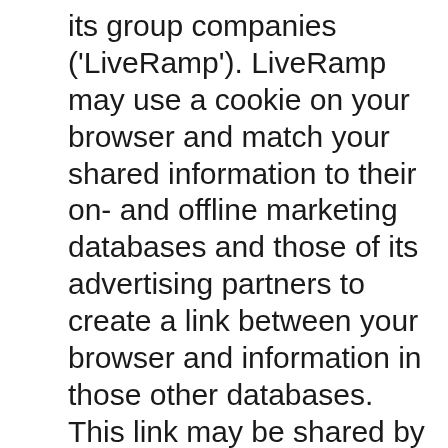its group companies ('LiveRamp'). LiveRamp may use a cookie on your browser and match your shared information to their on- and offline marketing databases and those of its advertising partners to create a link between your browser and information in those other databases. This link may be shared by our partners globally for the purpose of enabling interest-based content or advertising throughout your online experience (e.g. cross device, web, email, in-app, etc.) by third parties unaffiliated with our website. These third parties may in turn link further demographic or interest-based information to your browser. To opt out of LiveRamp's targeted